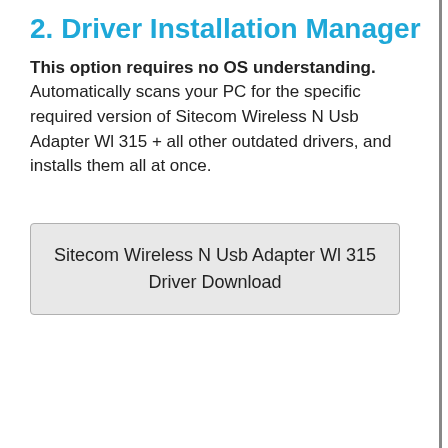2. Driver Installation Manager
This option requires no OS understanding. Automatically scans your PC for the specific required version of Sitecom Wireless N Usb Adapter Wl 315 + all other outdated drivers, and installs them all at once.
[Figure (other): A gray button/box labeled 'Sitecom Wireless N Usb Adapter Wl 315 Driver Download']